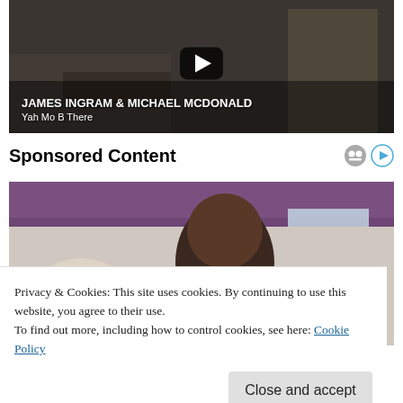[Figure (screenshot): Video thumbnail showing kitchen background with two people. A dark rounded-rectangle play button is centered. Text overlay at bottom reads 'JAMES INGRAM & MICHAEL MCDONALD' in bold white and 'Yah Mo B There' below it.]
Sponsored Content
[Figure (photo): Photo of a woman with curly hair looking down, purple curtain in background.]
Privacy & Cookies: This site uses cookies. By continuing to use this website, you agree to their use.
To find out more, including how to control cookies, see here: Cookie Policy
Close and accept